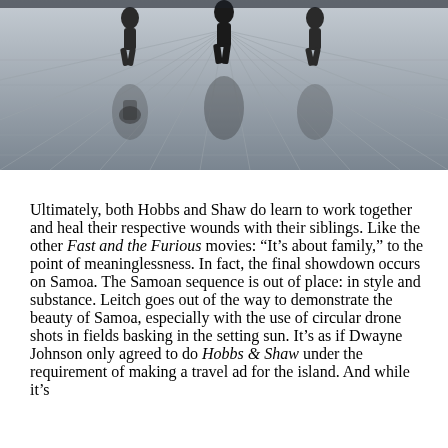[Figure (photo): Black and white overhead photo of people walking on a reflective tiled floor, showing their reflections below them.]
Ultimately, both Hobbs and Shaw do learn to work together and heal their respective wounds with their siblings. Like the other Fast and the Furious movies: “It’s about family,” to the point of meaninglessness. In fact, the final showdown occurs on Samoa. The Samoan sequence is out of place: in style and substance. Leitch goes out of the way to demonstrate the beauty of Samoa, especially with the use of circular drone shots in fields basking in the setting sun. It’s as if Dwayne Johnson only agreed to do Hobbs & Shaw under the requirement of making a travel ad for the island. And while it’s